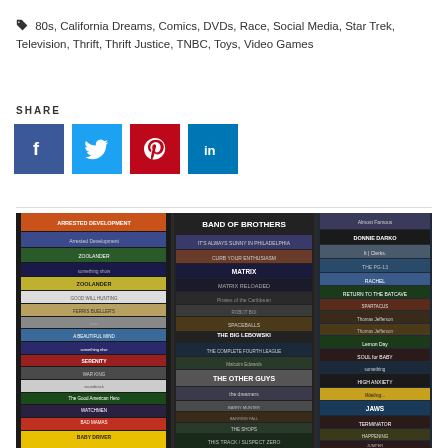🏷 80s, California Dreams, Comics, DVDs, Race, Social Media, Star Trek, Television, Thrift, Thrift Justice, TNBC, Toys, Video Games
SHARE
[Figure (infographic): Four social media share buttons: Facebook (blue), Twitter (light blue), Pinterest (red), LinkedIn (blue)]
[Figure (photo): A large stack of DVD cases photographed from above/side angle, showing titles including Band of Brothers, Zoolander, Matrix, Matrix Reloaded, Good Will Hunting, Ferris Bueller's Day Off, Serenity, Watchmen, Almost Famous, Donnie Darko, Clerks, The Big Lebowski, The Other Guys, Jaws, Terminator, and many others.]